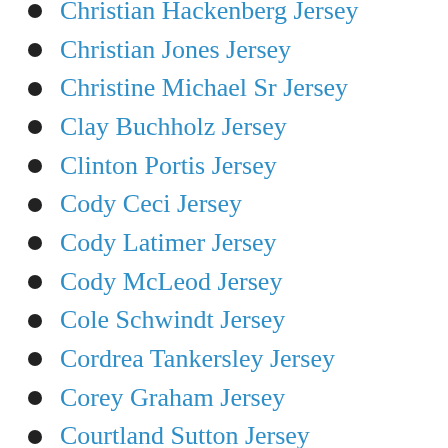Christian Hackenberg Jersey
Christian Jones Jersey
Christine Michael Sr Jersey
Clay Buchholz Jersey
Clinton Portis Jersey
Cody Ceci Jersey
Cody Latimer Jersey
Cody McLeod Jersey
Cole Schwindt Jersey
Cordrea Tankersley Jersey
Corey Graham Jersey
Courtland Sutton Jersey
Craig Smith Jersey
Cris Carter Jersey
Damian Jones Jersey
Damontae Kazee Jersey